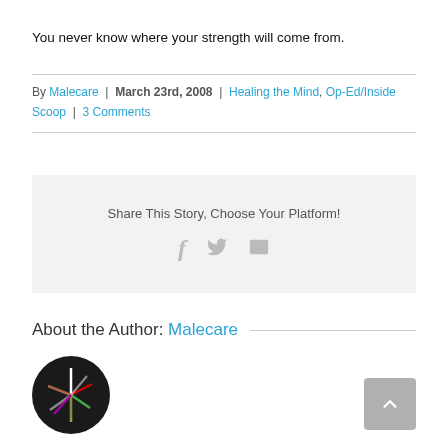You never know where your strength will come from.
By Malecare | March 23rd, 2008 | Healing the Mind, Op-Ed/Inside Scoop | 3 Comments
[Figure (infographic): Share This Story, Choose Your Platform! box with Facebook, Twitter, and email icons]
About the Author: Malecare
[Figure (photo): Circular dark logo with colorful spokes radiating from center (white, red, green, purple lines)]
[Figure (other): Back to top button (gray rounded square with up arrow)]